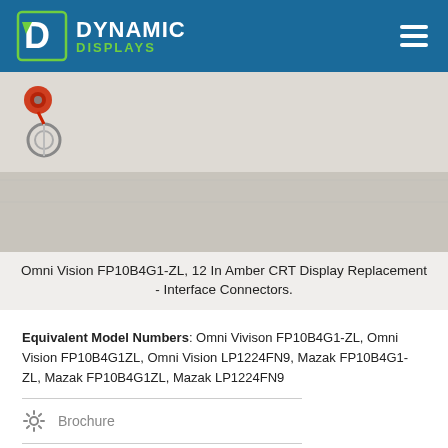Dynamic Displays
[Figure (photo): Close-up photo of interface connectors for Omni Vision FP10B4G1-ZL display replacement, showing cable connectors on a light-colored surface]
Omni Vision FP10B4G1-ZL, 12 In Amber CRT Display Replacement - Interface Connectors.
Equivalent Model Numbers: Omni Vivison FP10B4G1-ZL, Omni Vision FP10B4G1ZL, Omni Vision LP1224FN9, Mazak FP10B4G1-ZL, Mazak FP10B4G1ZL, Mazak LP1224FN9
Brochure
3D Drawing